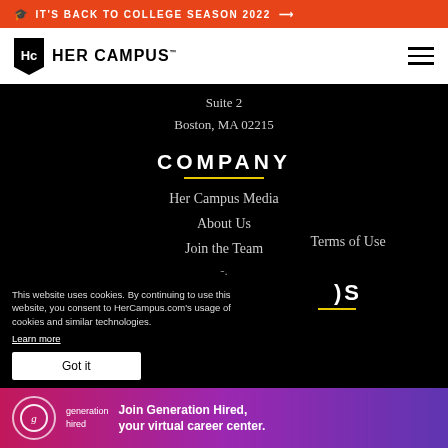🎓 IT'S BACK TO COLLEGE SEASON 2022 →
[Figure (logo): Her Campus logo with HC monogram in black shield shape and HER CAMPUS text]
Suite 2
Boston, MA 02215
COMPANY
Her Campus Media
About Us
Join the Team
Terms of Use
JS
This website uses cookies. By continuing to use this website, you consent to HerCampus.com's usage of cookies and similar technologies.
Learn more
Got it
[Figure (infographic): Generation Hired ad banner: Join Generation Hired, your virtual career center.]